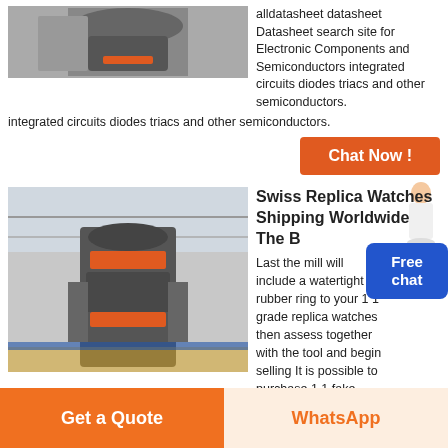[Figure (photo): Industrial grinding mill machine, close-up view from above showing cylindrical components]
alldatasheet datasheet Datasheet search site for Electronic Components and Semiconductors integrated circuits diodes triacs and other semiconductors.
[Figure (other): Orange Chat Now button with female avatar figure]
[Figure (photo): Large industrial vertical roller mill machine in a factory/warehouse setting]
Swiss Replica Watches Shipping Worldwide The B
[Figure (other): Free chat badge - blue rectangle with Free chat text]
Last the mill will include a watertight rubber ring to your 1 1 grade replica watches then assess together with the tool and begin selling It is possible to purchase 1 1 fake watches around the findreplicawatches site the cost is usd The planet s best replica watches mill Top replica watches mill list
[Figure (other): Get a Quote orange button and WhatsApp button at bottom of page]